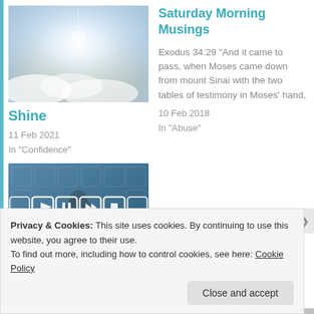[Figure (photo): Bright sunburst light shining through clouds]
Saturday Morning Musings
Exodus 34:29 "And it came to pass, when Moses came down from mount Sinai with the two tables of testimony in Moses' hand,
10 Feb 2018
In "Abuse"
Shine
11 Feb 2021
In "Confidence"
[Figure (photo): Video player interface with a person in background]
Privacy & Cookies: This site uses cookies. By continuing to use this website, you agree to their use.
To find out more, including how to control cookies, see here: Cookie Policy